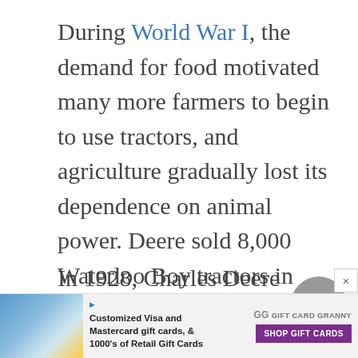During World War I, the demand for food motivated many more farmers to begin to use tractors, and agriculture gradually lost its dependence on animal power. Deere sold 8,000 Waterloo Boy tractors in 1918. In 1823, Deere introduced its own tractor, called the Model D.
In 1928, Charles Deere Wiman, John Deere's great-grandson, became president of the company. Wiman con...
[Figure (other): Scroll-to-top circular button with upward chevron arrow]
[Figure (other): Advertisement banner: Customized Visa and Mastercard gift cards, & 1000's of Retail Gift Cards — Gift Card Granny. Shop Gift Cards button.]